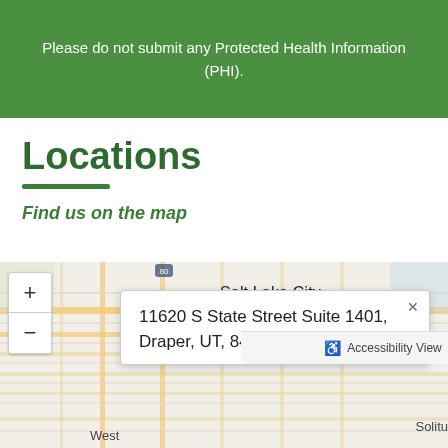Please do not submit any Protected Health Information (PHI).
Locations
Find us on the map
[Figure (map): Google map showing Salt Lake City area with a popup indicating the address: 11620 S State Street Suite 1401, Draper, UT, 84020, US. Map has zoom controls (+/-) on the left side and an Accessibility View bar at the bottom of the popup.]
11620 S State Street Suite 1401, Draper, UT, 84020, US